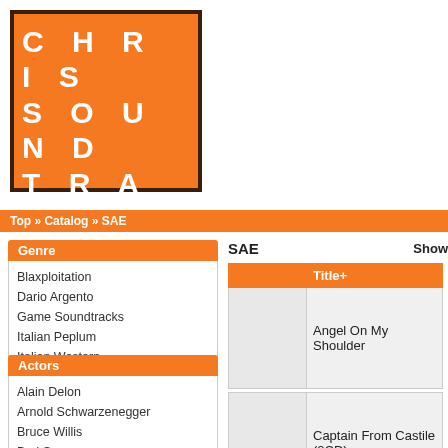[Figure (logo): Chris Soundtrack Corner logo: orange square with dark brown border, white bold text reading CHRIS SOUND TRACK CORNER]
Top » Catalog » SAE
Genre
Blaxploitation
Dario Argento
Game Soundtracks
Italian Peplum
Italian Western
James Bond
Pinky Violence/Yakuza
Poliziotteschi
Western
SALE
Actors
Alain Delon
Arnold Schwarzenegger
Bruce Willis
Bud Spencer
Charles Bronson
Clint Eastwood
Dolph Lundgren
Frank Sinatra
Humphrey Bogart
Jean-Claude Van
SAE
Show
|  | Title+ |
| --- | --- |
|  | Angel On My Shoulder |
|  | Captain From Castile (2CD) |